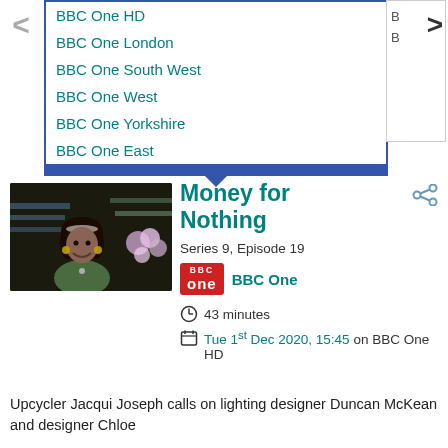BBC One HD
BBC One London
BBC One South West
BBC One West
BBC One Yorkshire
BBC One East
[Figure (photo): Woman smiling in a craft/flower shop]
Money for Nothing
Series 9, Episode 19
BBC One
43 minutes
Tue 1st Dec 2020, 15:45 on BBC One HD
Upcycler Jacqui Joseph calls on lighting designer Duncan McKean and designer Chloe